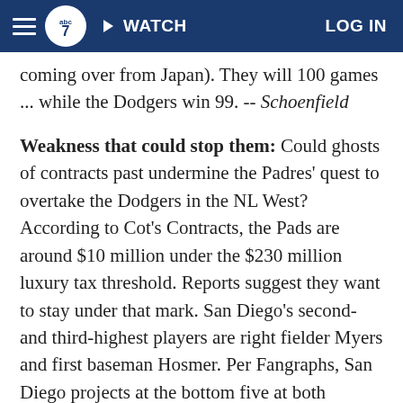ABC7 — WATCH | LOG IN
coming over from Japan). They will 100 games ... while the Dodgers win 99. -- Schoenfield
Weakness that could stop them: Could ghosts of contracts past undermine the Padres' quest to overtake the Dodgers in the NL West? According to Cot's Contracts, the Pads are around $10 million under the $230 million luxury tax threshold. Reports suggest they want to stay under that mark. San Diego's second- and third-highest players are right fielder Myers and first baseman Hosmer. Per Fangraphs, San Diego projects at the bottom five at both positions. The solution? For Myers and Hosmer to sprint past their preseason forecasts. Otherwise, that's at least two more lineup holes than the Dodgers will have. --